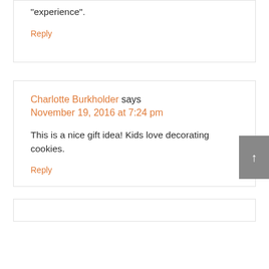"experience".
Reply
Charlotte Burkholder says
November 19, 2016 at 7:24 pm
This is a nice gift idea! Kids love decorating cookies.
Reply